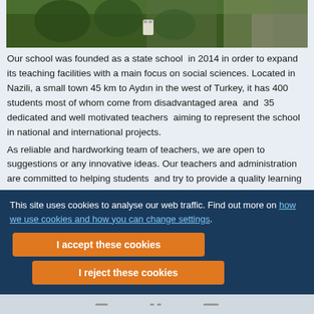[Figure (photo): Aerial/overhead photo of a school building area with green trees and a vehicle visible, taken from above]
Our school was founded as a state school  in 2014 in order to expand its teaching facilities with a main focus on social sciences. Located in Nazili, a small town 45 km to Aydın in the west of Turkey, it has 400 students most of whom come from disadvantaged area  and  35 dedicated and well motivated teachers  aiming to represent the school in national and international projects.
As reliable and hardworking team of teachers, we are open to suggestions or any innovative ideas. Our teachers and administration are committed to helping students  and try to provide a quality learning environment for them to achieve their potential. We value cultural diversity, the importance of respect for others. Our students are very enthusiastic to create effective
This site uses cookies to analyse our web traffic. Find out more on how we use cookies and how you can change settings.
I accept these cookies
I reject these cookies